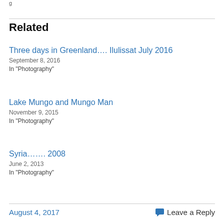Related
Three days in Greenland…. Ilulissat July 2016
September 8, 2016
In "Photography"
Lake Mungo and Mungo Man
November 9, 2015
In "Photography"
Syria……. 2008
June 2, 2013
In "Photography"
August 4, 2017
Leave a Reply